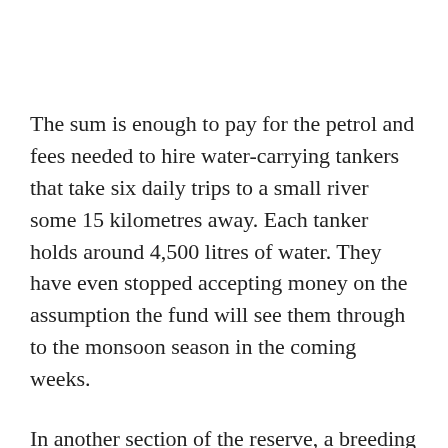The sum is enough to pay for the petrol and fees needed to hire water-carrying tankers that take six daily trips to a small river some 15 kilometres away. Each tanker holds around 4,500 litres of water. They have even stopped accepting money on the assumption the fund will see them through to the monsoon season in the coming weeks.
In another section of the reserve, a breeding programme for the critically endangered Burmese star tortoise faces similar problems. "We lost some tortoises because of the extreme heat," says Steve Platt, a herpetologist with the World Conservation Society (WCS). "That doesn't happen every year. Three